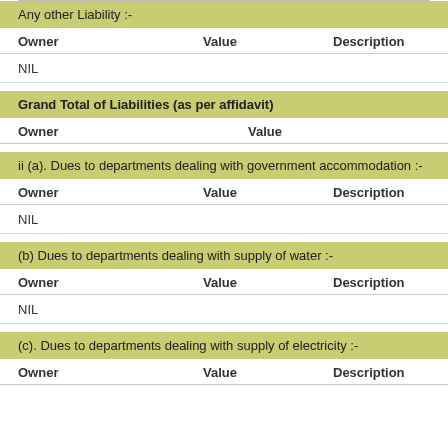Any other Liability :-
| Owner | Value | Description |
| --- | --- | --- |
| NIL |  |  |
Grand Total of Liabilities (as per affidavit)
| Owner | Value |
| --- | --- |
ii (a). Dues to departments dealing with government accommodation :-
| Owner | Value | Description |
| --- | --- | --- |
| NIL |  |  |
(b) Dues to departments dealing with supply of water :-
| Owner | Value | Description |
| --- | --- | --- |
| NIL |  |  |
(c). Dues to departments dealing with supply of electricity :-
| Owner | Value | Description |
| --- | --- | --- |